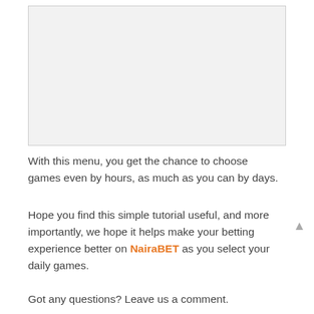[Figure (other): Light gray rectangular image placeholder with border]
With this menu, you get the chance to choose games even by hours, as much as you can by days.
Hope you find this simple tutorial useful, and more importantly, we hope it helps make your betting experience better on NairaBET as you select your daily games.
Got any questions? Leave us a comment.